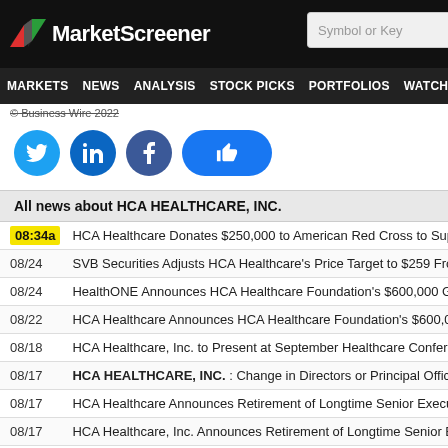MarketScreener — MARKETS NEWS ANALYSIS STOCK PICKS PORTFOLIOS WATCHLI
© Business Wire 2022
[Figure (infographic): Social share buttons: Twitter, LinkedIn, Facebook, Like/thumbs-up]
All news about HCA HEALTHCARE, INC.
08:34a — HCA Healthcare Donates $250,000 to American Red Cross to Support Di
08/24 — SVB Securities Adjusts HCA Healthcare's Price Target to $259 From $240
08/24 — HealthONE Announces HCA Healthcare Foundation's $600,000 Grant to
08/22 — HCA Healthcare Announces HCA Healthcare Foundation's $600,000 Gra
08/18 — HCA Healthcare, Inc. to Present at September Healthcare Conference
08/17 — HCA HEALTHCARE, INC. : Change in Directors or Principal Officers (fo
08/17 — HCA Healthcare Announces Retirement of Longtime Senior Executive Ch
08/17 — HCA Healthcare, Inc. Announces Retirement of Longtime Senior Executi
08/09 — HCA Healthcare Announces Collaboration With Johnson & Johnson to A